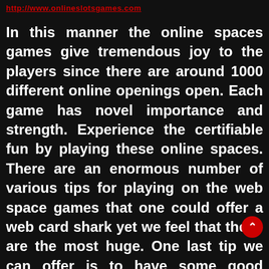http://www.onlineslotsgames.com
In this manner the online spaces games give tremendous joy to the players since there are around 1000 different online openings open. Each game has novel importance and strength. Experience the certifiable fun by playing these online spaces. There are an enormous number of various tips for playing on the web space games that one could offer a web card shark yet we feel that these are the most huge. One last tip we can offer is to have some good times. That is